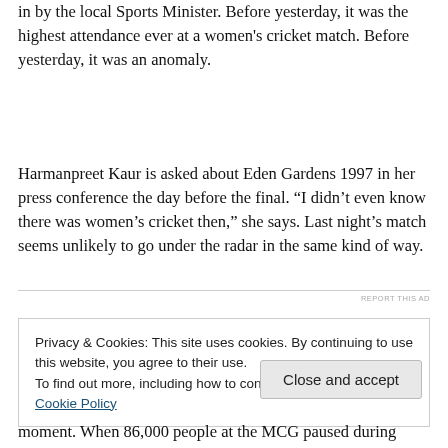in by the local Sports Minister. Before yesterday, it was the highest attendance ever at a women's cricket match. Before yesterday, it was an anomaly.
Harmanpreet Kaur is asked about Eden Gardens 1997 in her press conference the day before the final. “I didn’t even know there was women’s cricket then,” she says. Last night’s match seems unlikely to go under the radar in the same kind of way.
REPORT THIS AD
Privacy & Cookies: This site uses cookies. By continuing to use this website, you agree to their use.
To find out more, including how to control cookies, see here: Cookie Policy
Close and accept
moment. When 86,000 people at the MCG paused during